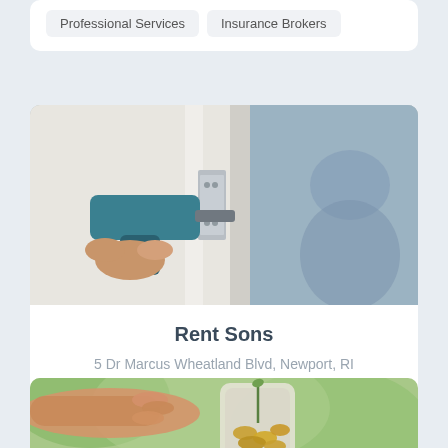Professional Services
Insurance Brokers
[Figure (photo): Construction worker using a drill or power tool to install something on a wall, with a person visible in the background]
Rent Sons
5 Dr Marcus Wheatland Blvd, Newport, RI
Professional Services
[Figure (photo): Hand reaching toward a glass jar filled with coins and a small plant growing out of the top, with green bokeh background]